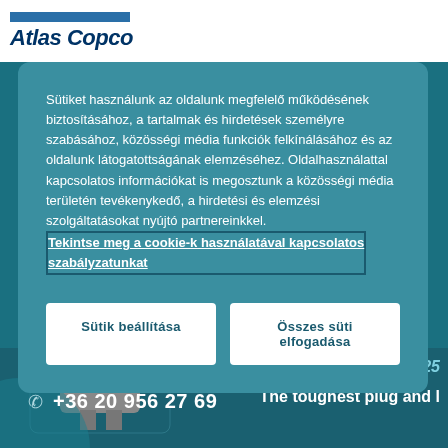[Figure (logo): Atlas Copco logo with blue bar above italic bold text]
Sütiket használunk az oldalunk megfelelő működésének biztosításához, a tartalmak és hirdetések személyre szabásához, közösségi média funkciók felkínálásához és az oldalunk látogatottságának elemzéséhez. Oldalhasználattal kapcsolatos információkat is megosztunk a közösségi média területén tevékenykedő, a hirdetési és elemzési szolgáltatásokat nyújtó partnereinkkel.  Tekintse meg a cookie-k használatával kapcsolatos szabályzatunkat
Sütik beállítása
Összes süti elfogadása
+36 20 956 27 69
[Figure (photo): Bottom strip showing a plug/industrial product photo on left and text 'The toughest plug and l' on right with italic heading above]